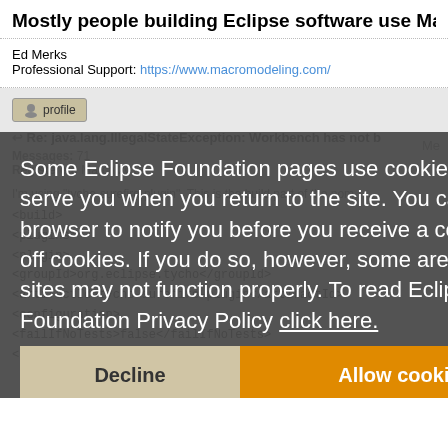Mostly people building Eclipse software use Maven with Tycho an
Ed Merks
Professional Support: https://www.macromodeling.com/
[Figure (screenshot): Forum post content partially visible behind a cookie consent overlay. Shows a profile button, a reply thread title 'Re: java.lang.IllegalStateException: Workbench has not b', messages count 71, Registered: March 2018, body text about tycho-surefire-plugin, and XML code block with <build>, <plugins>, <plugin>, <groupId>org.eclipse.tycho</groupId>, <artifactId>tycho-surefire-plugin</artifactId>, <configuration>, <failIfNoTests>false</failIfNoTests>, <product>org.eclipse.platform.ide</product>]
Some Eclipse Foundation pages use cookies to better serve you when you return to the site. You can set your browser to notify you before you receive a cookie or turn off cookies. If you do so, however, some areas of some sites may not function properly. To read Eclipse Foundation Privacy Policy click here.
Decline | Allow cookies